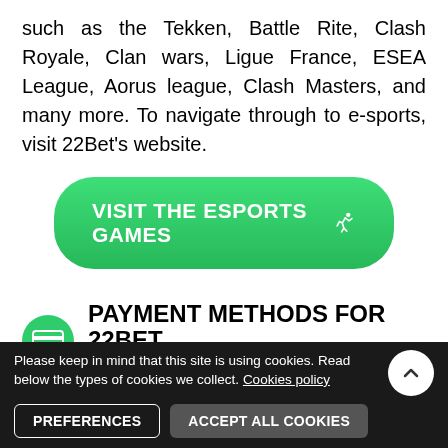such as the Tekken, Battle Rite, Clash Royale, Clan wars, Ligue France, ESEA League, Aorus league, Clash Masters, and many more. To navigate through to e-sports, visit 22Bet's website.
[Figure (other): Green rounded button with white bold text 'VISIT THE ESPORTS GAMES' and a running person icon]
PAYMENT METHODS FOR 22BET KENYA
There are a lot of ways that you can recharge your 22Bet account. The most common methods for Kenyans
Please keep in mind that this site is using cookies. Read below the types of cookies we collect. Cookies policy
PREFERENCES   ACCEPT ALL COOKIES